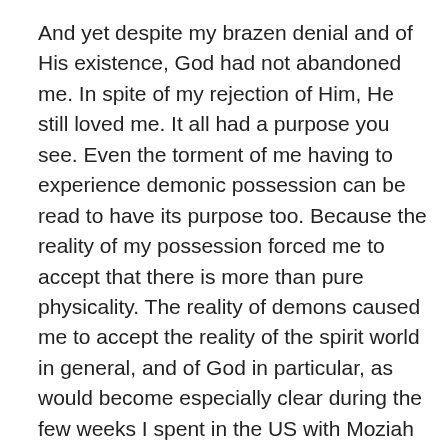And yet despite my brazen denial and of His existence, God had not abandoned me. In spite of my rejection of Him, He still loved me. It all had a purpose you see. Even the torment of me having to experience demonic possession can be read to have its purpose too. Because the reality of my possession forced me to accept that there is more than pure physicality. The reality of demons caused me to accept the reality of the spirit world in general, and of God in particular, as would become especially clear during the few weeks I spent in the US with Moziah and company.
Even my embracing of godless atheism earlier in life, seems to have had its reason. Even though it may have been that the demons in me, especially the demon of Logic, were actively trying to steer me clear away from